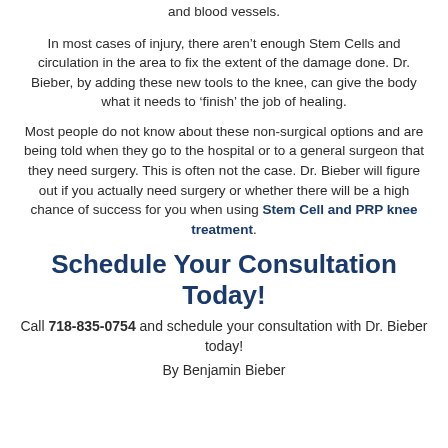and blood vessels.
In most cases of injury, there aren’t enough Stem Cells and circulation in the area to fix the extent of the damage done. Dr. Bieber, by adding these new tools to the knee, can give the body what it needs to ‘finish’ the job of healing.
Most people do not know about these non-surgical options and are being told when they go to the hospital or to a general surgeon that they need surgery. This is often not the case. Dr. Bieber will figure out if you actually need surgery or whether there will be a high chance of success for you when using Stem Cell and PRP knee treatment.
Schedule Your Consultation Today!
Call 718-835-0754 and schedule your consultation with Dr. Bieber today!
By Benjamin Bieber